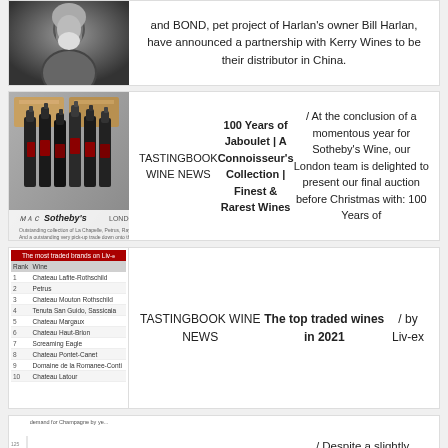and BOND, pet project of Harlan's owner Bill Harlan, have announced a partnership with Kerry Wines to be their distributor in China.
[Figure (photo): Black and white portrait photograph of a man]
[Figure (photo): Wine bottles arranged for a Sotheby's auction, showing red wine bottles with wooden boxes]
TASTINGBOOK WINE NEWS 100 Years of Jaboulet | A Connoisseur's Collection | Finest & Rarest Wines / At the conclusion of a momentous year for Sotheby's Wine, our London team is delighted to present our final auction before Christmas with: 100 Years of
[Figure (table-as-image): Table showing the most traded brands on Liv-ex with rank and wine name columns listing top 10 wines including Chateau Lafite-Rothschild, Petrus, Chateau Mouton Rothschild, Tenuta San Guido Sassicaia, Chateau Margaux, Chateau Haut-Brion, Screaming Eagle, Chateau Pontet-Canet, Domaine de la Romanee-Conti, Chateau Latour]
TASTINGBOOK WINE NEWS The top traded wines in 2021 / by Liv-ex
[Figure (area-chart): Stacked area chart showing demand for Champagne by year, with multiple colored areas in green, red, dark red, blue, and other colors]
TASTINGBOOK WINE NEWS Champagne's best year to date / Despite a slightly diminished share of trade, 2021 has been an excellent year for Champagne.